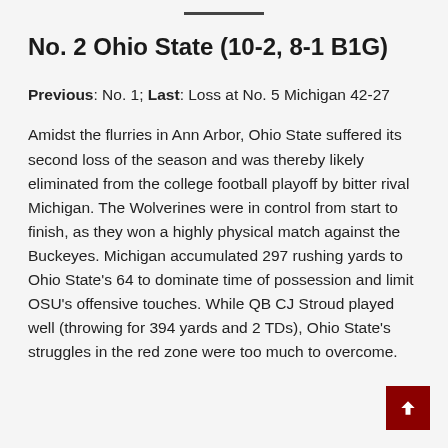No. 2 Ohio State (10-2, 8-1 B1G)
Previous: No. 1; Last: Loss at No. 5 Michigan 42-27
Amidst the flurries in Ann Arbor, Ohio State suffered its second loss of the season and was thereby likely eliminated from the college football playoff by bitter rival Michigan. The Wolverines were in control from start to finish, as they won a highly physical match against the Buckeyes. Michigan accumulated 297 rushing yards to Ohio State's 64 to dominate time of possession and limit OSU's offensive touches. While QB CJ Stroud played well (throwing for 394 yards and 2 TDs), Ohio State's struggles in the red zone were too much to overcome.